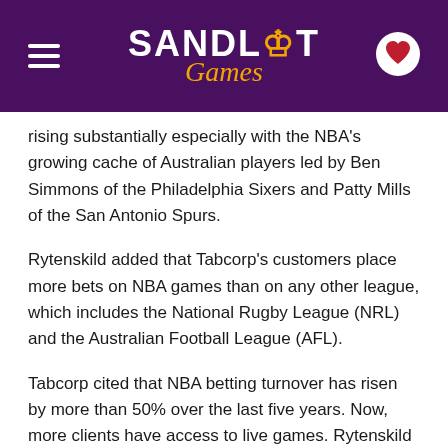Sandlot Games
rising substantially especially with the NBA's growing cache of Australian players led by Ben Simmons of the Philadelphia Sixers and Patty Mills of the San Antonio Spurs.
Rytenskild added that Tabcorp's customers place more bets on NBA games than on any other league, which includes the National Rugby League (NRL) and the Australian Football League (AFL).
Tabcorp cited that NBA betting turnover has risen by more than 50% over the last five years. Now, more clients have access to live games. Rytenskild exclaimed that the "expanded sports offering gives fans and our venue partners more value, and complements Sky's